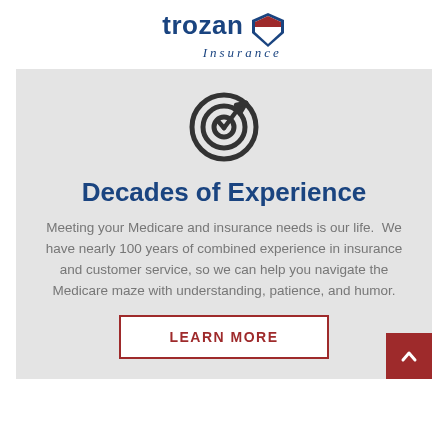[Figure (logo): Trozan Insurance logo with shield icon, blue text 'trozan' and italic 'Insurance']
[Figure (illustration): Target/bullseye icon with a checkmark arrow, dark gray circular rings]
Decades of Experience
Meeting your Medicare and insurance needs is our life.  We have nearly 100 years of combined experience in insurance and customer service, so we can help you navigate the Medicare maze with understanding, patience, and humor.
LEARN MORE